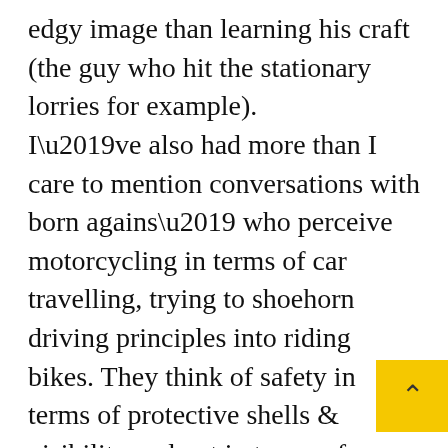edgy image than learning his craft (the guy who hit the stationary lorries for example). I’ve also had more than I care to mention conversations with born agains’ who perceive motorcycling in terms of car travelling, trying to shoehorn driving principles into riding bikes. They think of safety in terms of protective shells & visibility and not in terms of awareness and road positioning. You can tell them, just by following one riding just left of the centre line albeit a left